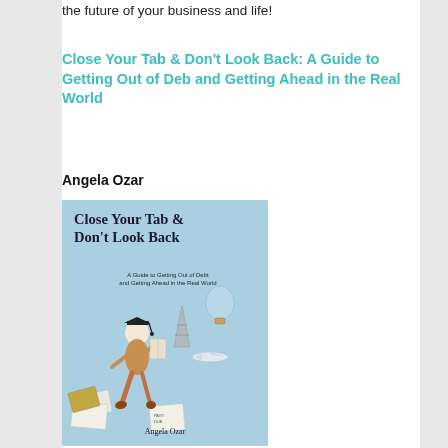the future of your business and life!
Close Your Tab & Don't Look Back: A Guide to Getting Out of Deb and Getting Ahead in the Real World
Angela Ozar
[Figure (illustration): Book cover of 'Close Your Tab & Don't Look Back: A Guide to Getting Out of Debt and Getting Ahead in the Real World' by Angela Ozar. Blue background with illustrated young woman in graduation cap walking, surrounded by flying papers, passport, Eiffel Tower, hot air balloon, and airplane.]